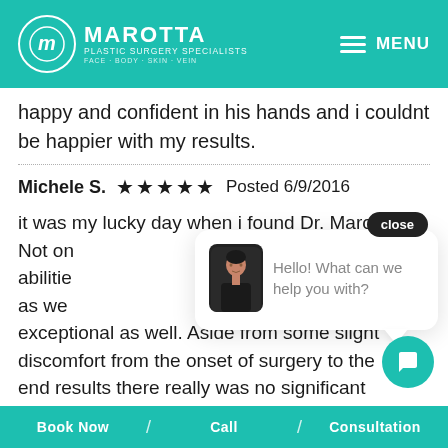Marotta Plastic Surgery Specialists — MENU
happy and confident in his hands and i couldnt be happier with my results.
Michele S. ★★★★★ Posted 6/9/2016
it was my lucky day when i found Dr. Maro... Not on... abilities... as we... exceptional as well. Aside from some slight discomfort from the onset of surgery to the end results there really was no significant pain. I did not have anesthesia either. The
[Figure (screenshot): Chat popup with close button showing 'Hello! What can we help you with?' message and avatar image of staff member]
Book Now / Call / Consultation